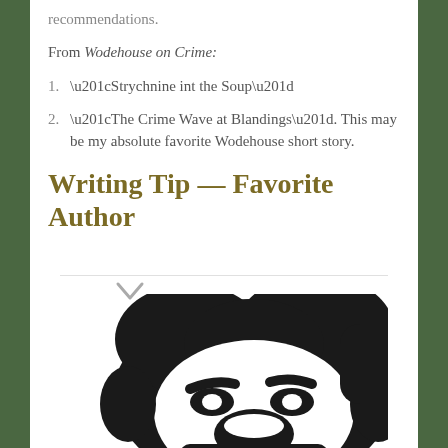recommendations.
From Wodehouse on Crime:
1. “Strychnine int the Soup”
2. “The Crime Wave at Blandings”. This may be my absolute favorite Wodehouse short story.
Writing Tip — Favorite Author
[Figure (illustration): Black and white graphic illustration of a man's face and head with dark hair, viewed from slightly above, against a white background. A downward-pointing chevron/arrow shape appears at the top of the illustration area.]